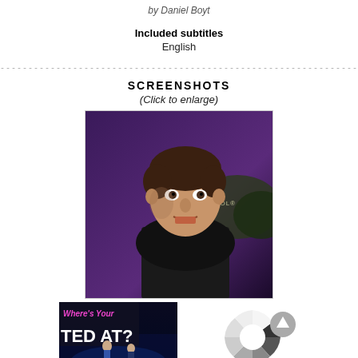by Daniel Boyt
Included subtitles
English
--------------------------------------------------------------------------------
SCREENSHOTS
(Click to enlarge)
[Figure (screenshot): A man in dark clothing sitting in front of a purple-lit background, appears to be a late night talk show set with 'CAPITOL' text visible]
[Figure (screenshot): A TV show screenshot with 'Where's Your TED AT?' text and a person on stage with blue lighting]
[Figure (screenshot): A loading/spinner icon with gray segments in circular arrangement]